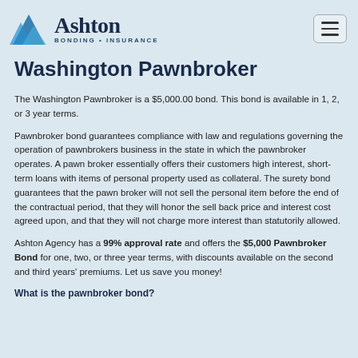Ashton BONDING • INSURANCE
Washington Pawnbroker
The Washington Pawnbroker is a $5,000.00 bond. This bond is available in 1, 2, or 3 year terms.
Pawnbroker bond guarantees compliance with law and regulations governing the operation of pawnbrokers business in the state in which the pawnbroker operates. A pawn broker essentially offers their customers high interest, short-term loans with items of personal property used as collateral. The surety bond guarantees that the pawn broker will not sell the personal item before the end of the contractual period, that they will honor the sell back price and interest cost agreed upon, and that they will not charge more interest than statutorily allowed.
Ashton Agency has a 99% approval rate and offers the $5,000 Pawnbroker Bond for one, two, or three year terms, with discounts available on the second and third years' premiums. Let us save you money!
What is the pawnbroker bond?